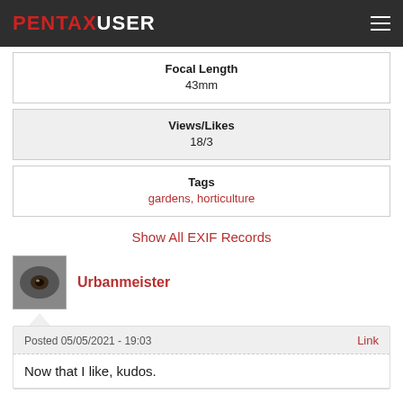PENTAXUSER
| Field | Value |
| --- | --- |
| Focal Length | 43mm |
| Views/Likes | 18/3 |
| Tags | gardens, horticulture |
Show All EXIF Records
Urbanmeister
Posted 05/05/2021 - 19:03
Link
Now that I like, kudos.